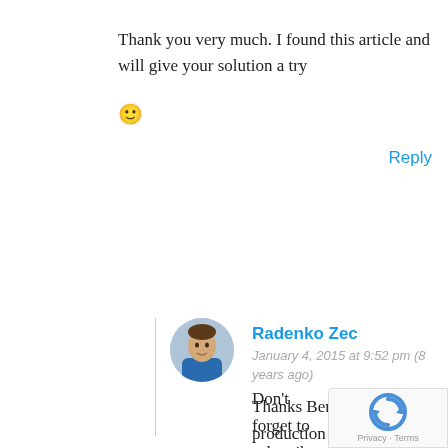Thank you very much. I found this article and will give your solution a try 🙂
Reply
Radenko Zec
January 4, 2015 at 9:52 pm (8 years ago)
Thanks Bernd. I use it in production project so it should be fine.
Don't forget to subscribe to my blog and make sure you don't miss some great content I'm planning for this year.